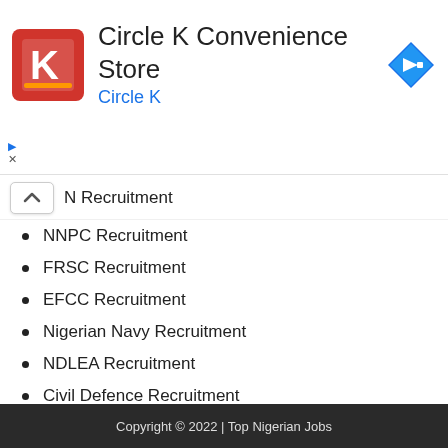[Figure (logo): Circle K Convenience Store ad banner with Circle K logo (red square with white K), store name, and blue navigation arrow icon]
N Recruitment
NNPC Recruitment
FRSC Recruitment
EFCC Recruitment
Nigerian Navy Recruitment
NDLEA Recruitment
Civil Defence Recruitment
NAFDAC Recruitment
Nigerian Army Recruitment
Nigerian Air force Recruitment
Copyright © 2022 | Top Nigerian Jobs